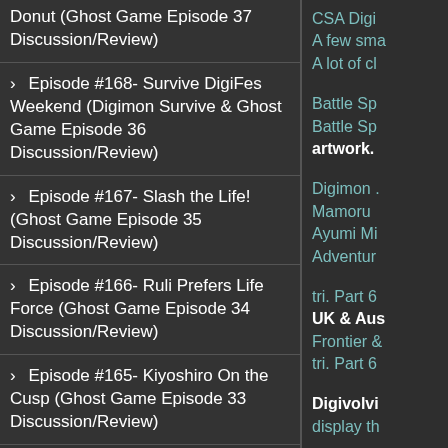Donut (Ghost Game Episode 37 Discussion/Review)
Episode #168- Survive DigiFes Weekend (Digimon Survive & Ghost Game Episode 36 Discussion/Review)
Episode #167- Slash the Life! (Ghost Game Episode 35 Discussion/Review)
Episode #166- Ruli Prefers Life Force (Ghost Game Episode 34 Discussion/Review)
Episode #165- Kiyoshiro On the Cusp (Ghost Game Episode 33 Discussion/Review)
Episode #164 - Gammamon v Botsumon (Ghost Game...
CSA Digi...
A few sma...
A lot of cl...
Battle Sp...
Battle Sp...
artwork.
Digimon ...
Mamoru...
Ayumi Mi...
Adventur...
tri. Part 6
UK & Aus...
Frontier &...
tri. Part 6...
Digivolvi...
display th...